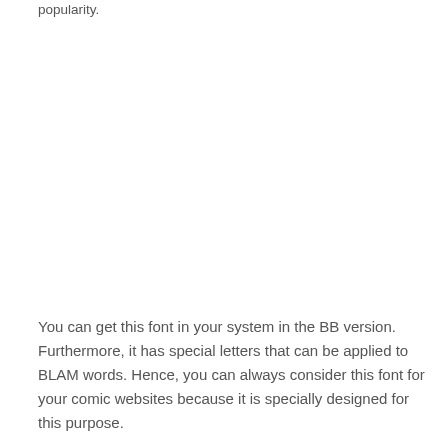popularity.
You can get this font in your system in the BB version. Furthermore, it has special letters that can be applied to BLAM words. Hence, you can always consider this font for your comic websites because it is specially designed for this purpose.